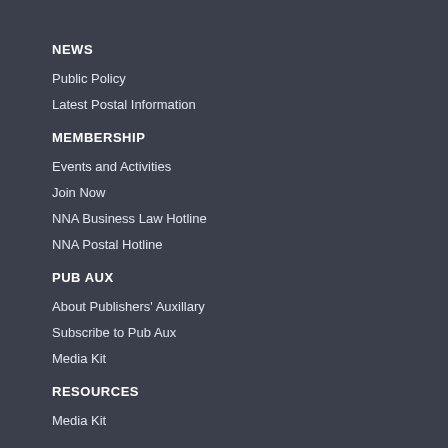NEWS
Public Policy
Latest Postal Information
MEMBERSHIP
Events and Activities
Join Now
NNA Business Law Hotline
NNA Postal Hotline
PUB AUX
About Publishers' Auxillary
Subscribe to Pub Aux
Media Kit
RESOURCES
Media Kit